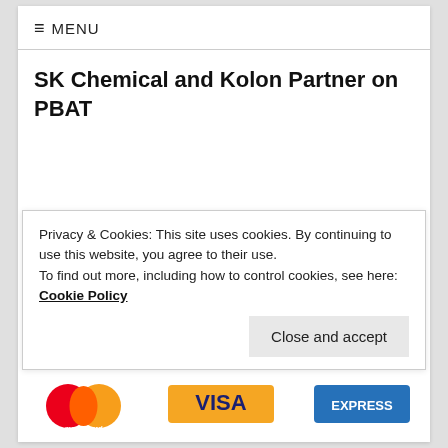MENU
SK Chemical and Kolon Partner on PBAT
— by AXEL BARRETT
April 9, 2021
Privacy & Cookies: This site uses cookies. By continuing to use this website, you agree to their use.
To find out more, including how to control cookies, see here: Cookie Policy
[Figure (logo): Mastercard, Visa, and American Express payment logos at bottom of page]